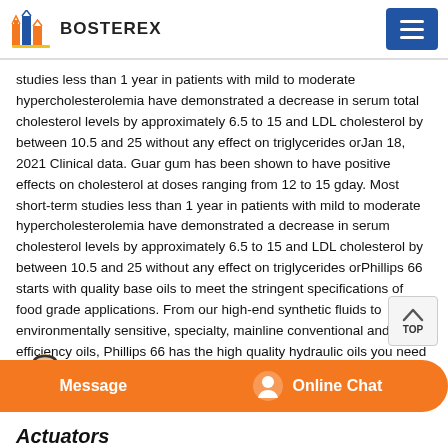BOSTEREX
studies less than 1 year in patients with mild to moderate hypercholesterolemia have demonstrated a decrease in serum total cholesterol levels by approximately 6.5 to 15 and LDL cholesterol by between 10.5 and 25 without any effect on triglycerides orJan 18, 2021 Clinical data. Guar gum has been shown to have positive effects on cholesterol at doses ranging from 12 to 15 gday. Most short-term studies less than 1 year in patients with mild to moderate hypercholesterolemia have demonstrated a decrease in serum cholesterol levels by approximately 6.5 to 15 and LDL cholesterol by between 10.5 and 25 without any effect on triglycerides orPhillips 66 starts with quality base oils to meet the stringent specifications of food grade applications. From our high-end synthetic fluids to environmentally sensitive, specialty, mainline conventional and high-efficiency oils, Phillips 66 has the high quality hydraulic oils you need a
Actuators